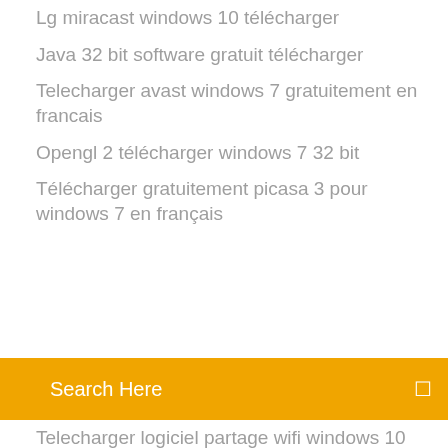Lg miracast windows 10 télécharger
Java 32 bit software gratuit télécharger
Telecharger avast windows 7 gratuitement en francais
Opengl 2 télécharger windows 7 32 bit
Télécharger gratuitement picasa 3 pour windows 7 en français
Search Here
Telecharger logiciel partage wifi windows 10
Free mouse auto clicker 3.5
Yu gi oh pc en ligne
Activer controle parental windows 7
Wamp pour windows 10
Windows 10 32 bits en 64 bits
Logiciel de prise de main à distance via internet
Street fighter ii champion edition sega genesis
Telecharger lecteur vlc android gratuit
Es file explorer windows 7